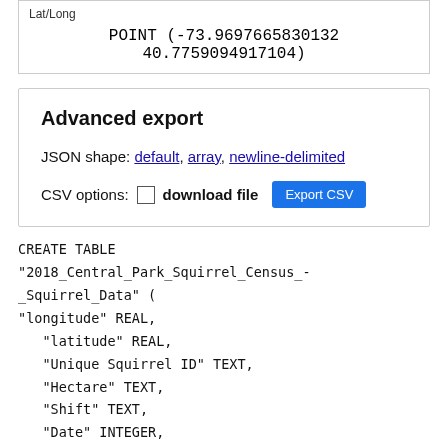| Lat/Long |
| --- |
| POINT (-73.9697665830132 40.7759094917104) |
Advanced export
JSON shape: default, array, newline-delimited
CSV options: □ download file [Export CSV]
CREATE TABLE
"2018_Central_Park_Squirrel_Census_-_Squirrel_Data" (
"longitude" REAL,
   "latitude" REAL,
   "Unique Squirrel ID" TEXT,
   "Hectare" TEXT,
   "Shift" TEXT,
   "Date" INTEGER,